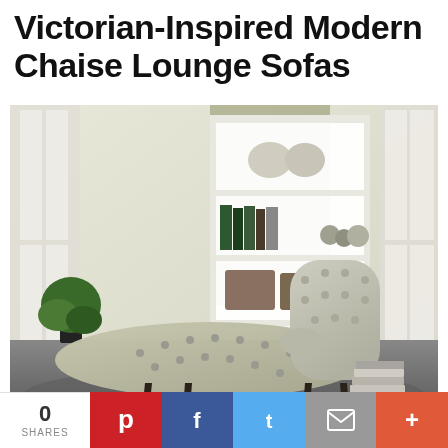Victorian-Inspired Modern Chaise Lounge Sofas
[Figure (photo): A Victorian-inspired modern chaise lounge sofa upholstered in light grey/green tufted fabric with dark tapered legs, positioned on a dark rug in a modern living room setting with a white bookcase, green plant, and stacked books nearby.]
Modern Chaise Lounge Sofas are elevated and...
0
SHARES
[Figure (other): Social sharing bar with Pinterest (red), Facebook (blue), Twitter (light blue), Email (grey), and More (+) (orange-red) buttons.]